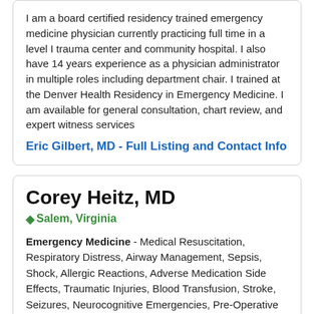I am a board certified residency trained emergency medicine physician currently practicing full time in a level I trauma center and community hospital. I also have 14 years experience as a physician administrator in multiple roles including department chair. I trained at the Denver Health Residency in Emergency Medicine. I am available for general consultation, chart review, and expert witness services
Eric Gilbert, MD - Full Listing and Contact Info
Corey Heitz, MD
Salem, Virginia
Emergency Medicine - Medical Resuscitation, Respiratory Distress, Airway Management, Sepsis, Shock, Allergic Reactions, Adverse Medication Side Effects, Traumatic Injuries, Blood Transfusion, Stroke, Seizures, Neurocognitive Emergencies, Pre-Operative Surgical Emergencies, Heart Attack, Unstable Cardiac Dysrhythmias.
After residency training at Wake Forest University Baptist